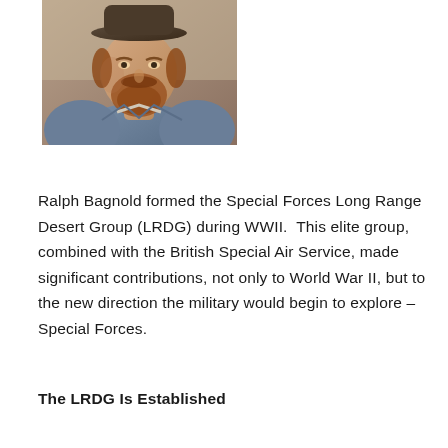[Figure (photo): Colorized historical photograph of Ralph Bagnold, a man with a reddish beard wearing a grey/blue jacket and a hat, shown from the shoulders up against a warm brown background.]
Ralph Bagnold formed the Special Forces Long Range Desert Group (LRDG) during WWII.  This elite group, combined with the British Special Air Service, made significant contributions, not only to World War II, but to the new direction the military would begin to explore – Special Forces.
The LRDG Is Established